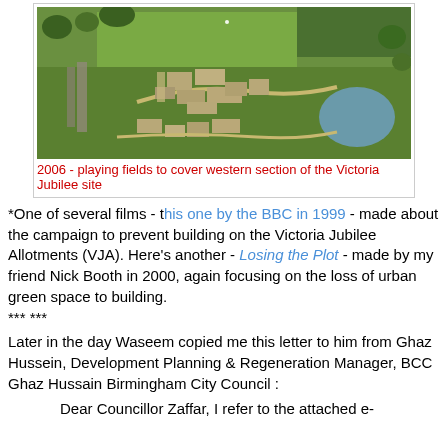[Figure (photo): Aerial photograph showing the Victoria Jubilee site with playing fields covering the western section, green spaces, buildings, and a pond, dated 2006.]
2006 - playing fields to cover western section of the Victoria Jubilee site
*One of several films - this one by the BBC in 1999 - made about the campaign to prevent building on the Victoria Jubilee Allotments (VJA). Here's another - Losing the Plot - made by my friend Nick Booth in 2000, again focusing on the loss of urban green space to building.
*** ***
Later in the day Waseem copied me this letter to him from Ghaz Hussein, Development Planning & Regeneration Manager, BCC Ghaz Hussain Birmingham City Council :
Dear Councillor Zaffar, I refer to the attached e-